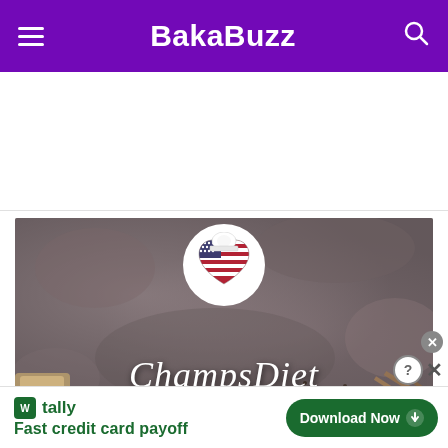BakaBuzz
[Figure (illustration): BakaBuzz website screenshot showing a ChampsDiet banner image on a stone-textured background with a circular logo featuring an American flag heart with chef hat, and cursive ChampsDiet text overlay. Below is a Tally app advertisement with 'Fast credit card payoff' text and a Download Now button.]